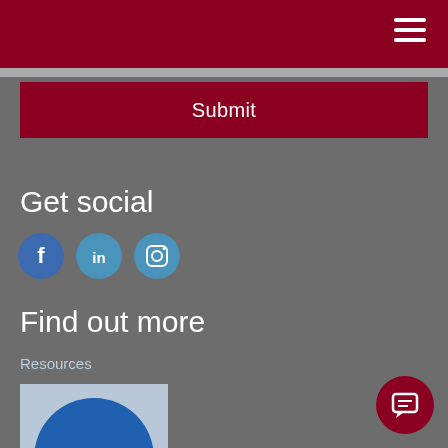Submit
Get social
[Figure (infographic): Social media icons: Facebook (f), LinkedIn (in), Instagram (camera)]
Find out more
Resources
[Figure (logo): NQA logo: blue circle with white text 'nqa' and orange dot]